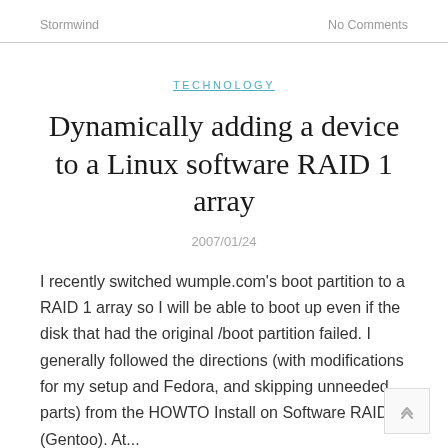Stormwind    No Comments
TECHNOLOGY
Dynamically adding a device to a Linux software RAID 1 array
2007/01/24
I recently switched wumple.com's boot partition to a RAID 1 array so I will be able to boot up even if the disk that had the original /boot partition failed. I generally followed the directions (with modifications for my setup and Fedora, and skipping unneeded parts) from the HOWTO Install on Software RAID (Gentoo). At...